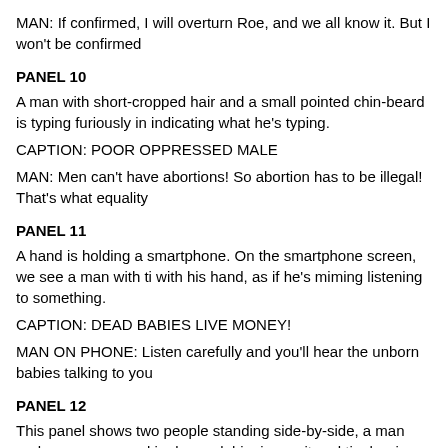MAN: If confirmed, I will overturn Roe, and we all know it. But I won't be confirmed
PANEL 10
A man with short-cropped hair and a small pointed chin-beard is typing furiously in indicating what he's typing.
CAPTION: POOR OPPRESSED MALE
MAN: Men can't have abortions! So abortion has to be illegal! That's what equality
PANEL 11
A hand is holding a smartphone. On the smartphone screen, we see a man with ti with his hand, as if he's miming listening to something.
CAPTION: DEAD BABIES LIVE MONEY!
MAN ON PHONE: Listen carefully and you'll hear the unborn babies talking to you
PANEL 12
This panel shows two people standing side-by-side, a man and a woman, speakin dressed, him in a suit and tie, her in a blouse with puffy short sleeves, and careful